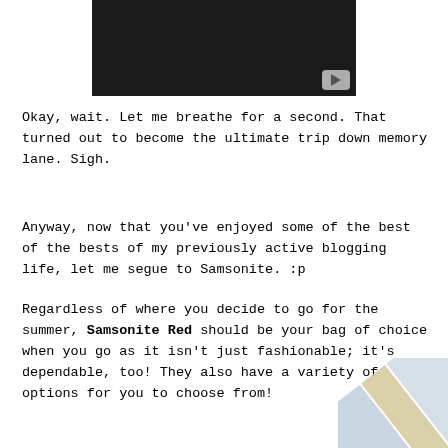[Figure (screenshot): Partial view of a YouTube video embed with dark background and play button in bottom-right corner]
Okay, wait. Let me breathe for a second. That turned out to become the ultimate trip down memory lane. Sigh.
Anyway, now that you've enjoyed some of the best of the bests of my previously active blogging life, let me segue to Samsonite. :p
Regardless of where you decide to go for the summer, Samsonite Red should be your bag of choice when you go as it isn't just fashionable; it's dependable, too! They also have a variety of options for you to choose from!
[Figure (illustration): Partial corner decoration showing diagonal stripes in blue, grey, and yellow/beige colors]